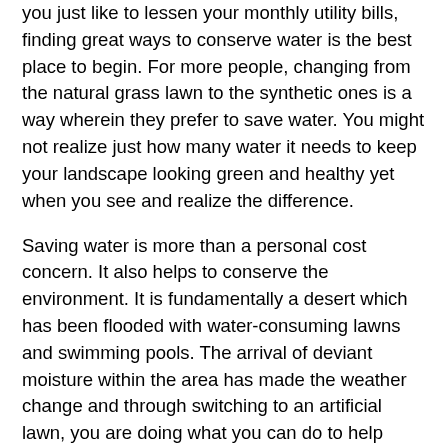you just like to lessen your monthly utility bills, finding great ways to conserve water is the best place to begin. For more people, changing from the natural grass lawn to the synthetic ones is a way wherein they prefer to save water. You might not realize just how many water it needs to keep your landscape looking green and healthy yet when you see and realize the difference.
Saving water is more than a personal cost concern. It also helps to conserve the environment. It is fundamentally a desert which has been flooded with water-consuming lawns and swimming pools. The arrival of deviant moisture within the area has made the weather change and through switching to an artificial lawn, you are doing what you can do to help change this back.
One of the major reasons why it took time for the